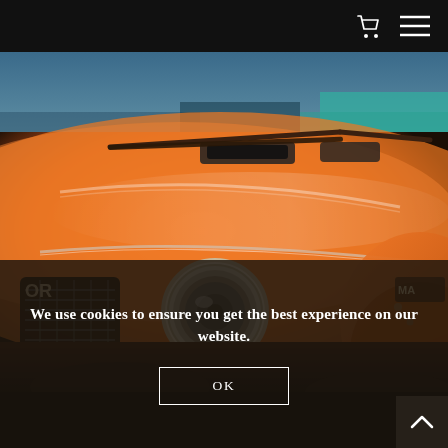[Figure (photo): Close-up photograph of the front hood and headlight area of a vintage orange Toyota Celica (or similar classic Japanese car) at a car show. The car has a bright orange paint job, chrome grille, round headlight, and distinctive muscle car styling.]
We use cookies to ensure you get the best experience on our website.
OK